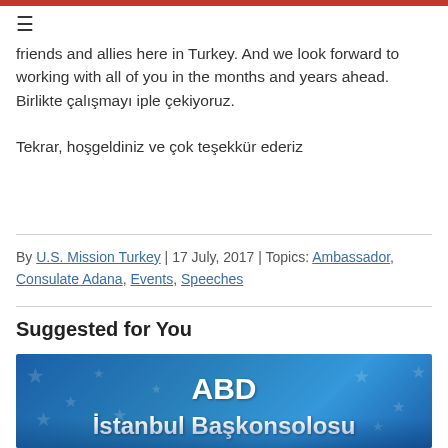friends and allies here in Turkey. And we look forward to working with all of you in the months and years ahead. Birlikte çalışmayı iple çekiyoruz.
Tekrar, hoşgeldiniz ve çok teşekkür ederiz
By U.S. Mission Turkey | 17 July, 2017 | Topics: Ambassador, Consulate Adana, Events, Speeches
Suggested for You
[Figure (photo): Blue banner image with white stars background showing text 'ABD' and 'İstanbul Başkonsolosu' with a person partially visible at the bottom]